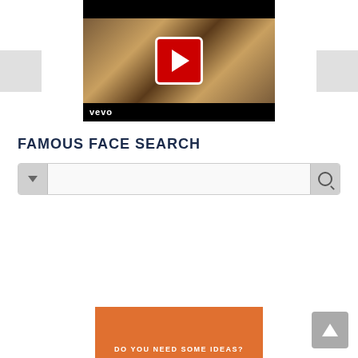[Figure (screenshot): Video thumbnail with play button on a Vevo music video showing a woman's face, with black letterbox bars top and bottom and 'vevo' text label]
FAMOUS FACE SEARCH
[Figure (screenshot): Search bar with dropdown arrow on left and magnifying glass icon on right]
[Figure (screenshot): Scroll-to-top button (arrow pointing up) in bottom right corner]
[Figure (screenshot): Orange banner at bottom center partially visible, with text 'DO YOU NEED SOME IDEAS?']
[Figure (screenshot): Gray sidebar blocks on left and right sides of page]